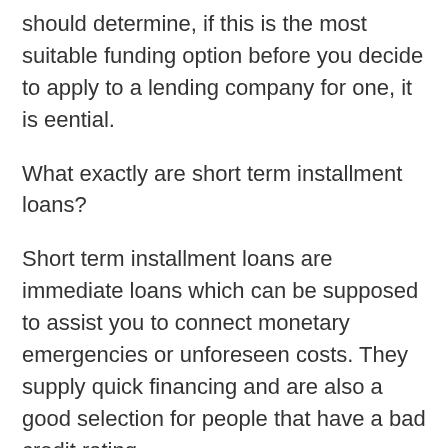should determine, if this is the most suitable funding option before you decide to apply to a lending company for one, it is eential.
What exactly are short term installment loans?
Short term installment loans are immediate loans which can be supposed to assist you to connect monetary emergencies or unforeseen costs. They supply quick financing and are also a good selection for people that have a bad credit rating.
A loan that is short-term a short-term funding kind in which you borrow http://paydayloansohio.net/cities/hillsboro funds for as much as 30 days then pay the total quantity